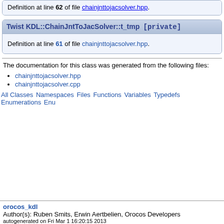Definition at line 62 of file chainjnttojacsolver.hpp.
Twist KDL::ChainJntToJacSolver::t_tmp [private]
Definition at line 61 of file chainjnttojacsolver.hpp.
The documentation for this class was generated from the following files:
chainjnttojacsolver.hpp
chainjnttojacsolver.cpp
All Classes Namespaces Files Functions Variables Typedefs Enumerations Enu
orocos_kdl
Author(s): Ruben Smits, Erwin Aertbelien, Orocos Developers
autogenerated on Fri Mar 1 16:20:15 2013